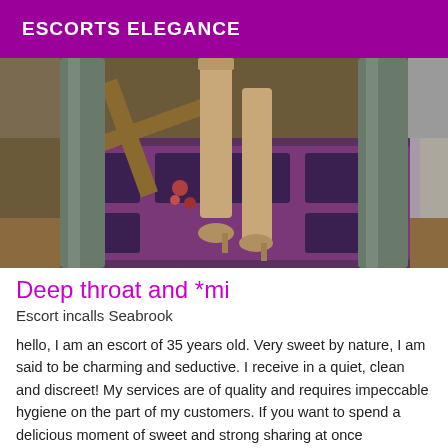ESCORTS ELEGANCE
[Figure (photo): Cropped photo showing a person's legs in heels standing on an ornate patterned rug with decorative wooden and stone column elements in the background]
Deep throat and *mi
Escort incalls Seabrook
hello, I am an escort of 35 years old. Very sweet by nature, I am said to be charming and seductive. I receive in a quiet, clean and discreet! My services are of quality and requires impeccable hygiene on the part of my customers. If you want to spend a delicious moment of sweet and strong sharing at once accompanied by